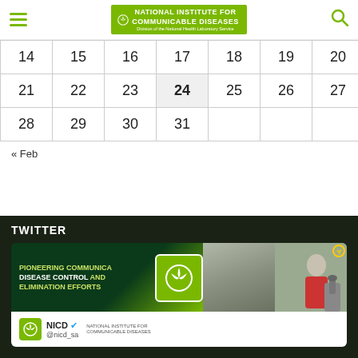NATIONAL INSTITUTE FOR COMMUNICABLE DISEASES — Division of the National Health Laboratory Service
|  |  |  |  |  |  |  |
| --- | --- | --- | --- | --- | --- | --- |
| 14 | 15 | 16 | 17 | 18 | 19 | 20 |
| 21 | 22 | 23 | 24 | 25 | 26 | 27 |
| 28 | 29 | 30 | 31 |  |  |  |
« Feb
TWITTER
[Figure (screenshot): NICD Twitter card showing 'Pioneering Communicable Disease Control and Elimination Efforts' with NICD logo and scientist at microscope. Account: NICD @nicd_sa with verified badge.]